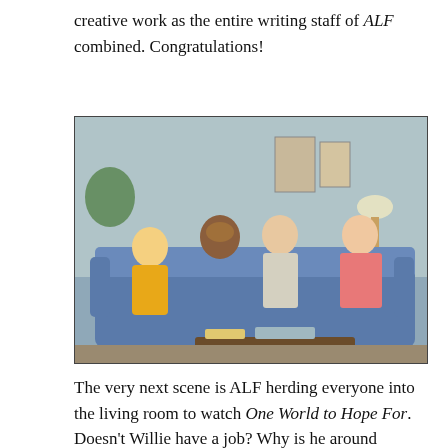creative work as the entire writing staff of ALF combined. Congratulations!
[Figure (photo): A TV still from the show ALF showing a young boy in a yellow sweatshirt, the ALF puppet, an older woman in a plaid shirt, and a younger woman in a pink top, all seated on a blue couch in a living room set.]
The very next scene is ALF herding everyone into the living room to watch One World to Hope For. Doesn't Willie have a job? Why is he around